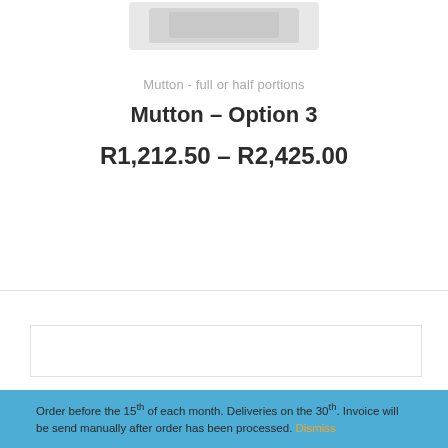[Figure (photo): Product image of mutton/meat in white packaging, partially visible at top of page]
Mutton - full or half portions
Mutton – Option 3
R1,212.50 – R2,425.00
Order before the 15th of each month. Deliveries on the 30th. Invoice will be send manually after order has been processed. Dismiss